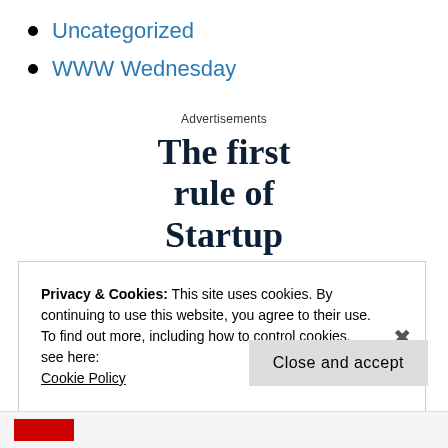Uncategorized
WWW Wednesday
Advertisements
[Figure (other): Advertisement image with bold serif text reading 'The first rule of Startup School?']
Privacy & Cookies: This site uses cookies. By continuing to use this website, you agree to their use.
To find out more, including how to control cookies, see here:
Cookie Policy
Close and accept